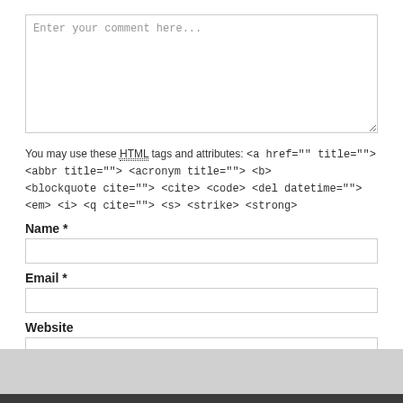[Figure (screenshot): Comment form textarea with placeholder text 'Enter your comment here...']
You may use these HTML tags and attributes: <a href="" title=""> <abbr title=""> <acronym title=""> <b> <blockquote cite=""> <cite> <code> <del datetime=""> <em> <i> <q cite=""> <s> <strike> <strong>
Name *
[Figure (screenshot): Name input field]
Email *
[Figure (screenshot): Email input field]
Website
[Figure (screenshot): Website input field]
[Figure (screenshot): Post Comment submit button]